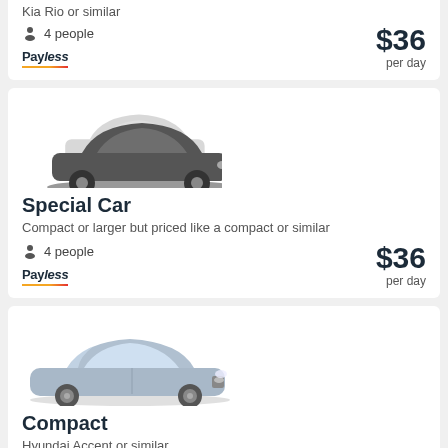Kia Rio or similar
4 people
[Figure (logo): Payless car rental logo]
$36 per day
Special Car
Compact or larger but priced like a compact or similar
[Figure (illustration): Silhouette illustration of a car (Special Car category)]
4 people
[Figure (logo): Payless car rental logo]
$36 per day
Compact
Hyundai Accent or similar
[Figure (photo): Photo of a silver/grey Hyundai Accent compact car]
5 people
[Figure (logo): Payless car rental logo]
$36 per day